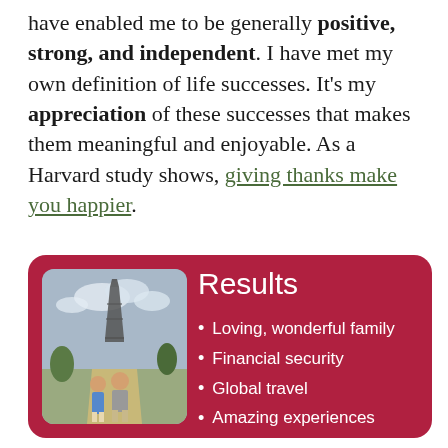have enabled me to be generally positive, strong, and independent. I have met my own definition of life successes. It's my appreciation of these successes that makes them meaningful and enjoyable. As a Harvard study shows, giving thanks make you happier.
[Figure (infographic): Red rounded rectangle card with title 'Results', a photo of two people in front of the Eiffel Tower, and a bullet list: Loving, wonderful family; Financial security; Global travel; Amazing experiences; Friends & community]